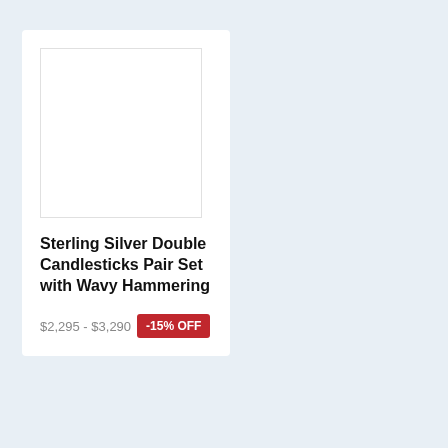[Figure (photo): White blank product image placeholder rectangle]
Sterling Silver Double Candlesticks Pair Set with Wavy Hammering
$2,295 - $3,290  -15% OFF